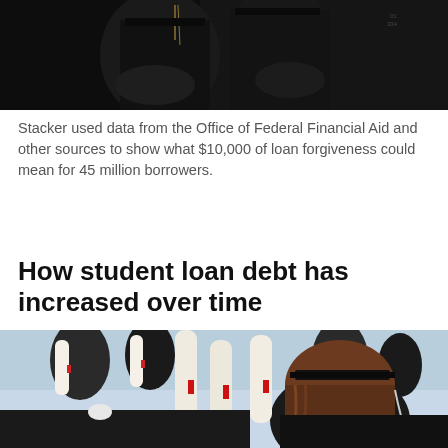[Figure (photo): Dark photo of graduation ceremony figures in academic robes, partially cropped at top of page]
Stacker used data from the Office of Federal Financial Aid and other sources to show what $10,000 of loan forgiveness could mean for 45 million borrowers.
How student loan debt has increased over time
[Figure (photo): Photo of graduation ceremony attendees holding rolled diplomas with red ribbons, viewed from behind, wearing academic caps and gowns]